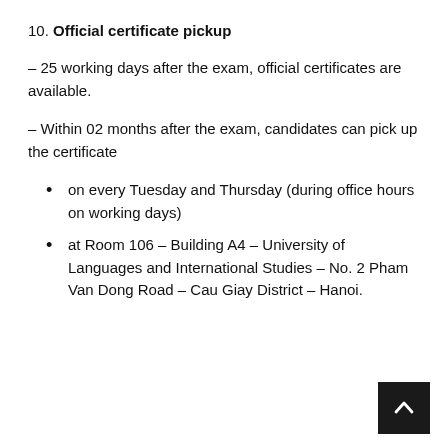10. Official certificate pickup
– 25 working days after the exam, official certificates are available.
– Within 02 months after the exam, candidates can pick up the certificate
on every Tuesday and Thursday (during office hours on working days)
at Room 106 – Building A4 – University of Languages and International Studies – No. 2 Pham Van Dong Road – Cau Giay District – Hanoi.